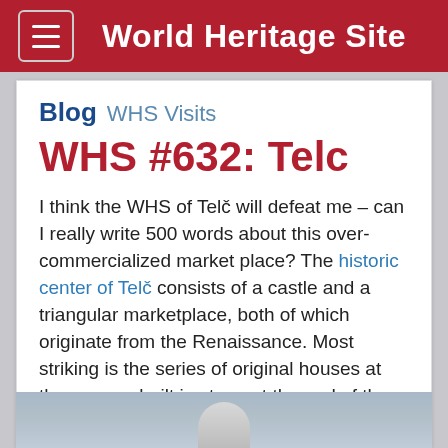World Heritage Site
Blog WHS Visits
WHS #632: Telc
I think the WHS of Telč will defeat me – can I really write 500 words about this over-commercialized market place? The historic center of Telč consists of a castle and a triangular marketplace, both of which originate from the Renaissance. Most striking is the series of original houses at the square, built in stone at the end of the 16th century after a fire had destroyed their wooden predecessors. In the 17th century, baroque facades and gables were added to several of them.
[Figure (photo): Partial photo of a dome or tower structure against a grey sky, cropped at bottom of page]